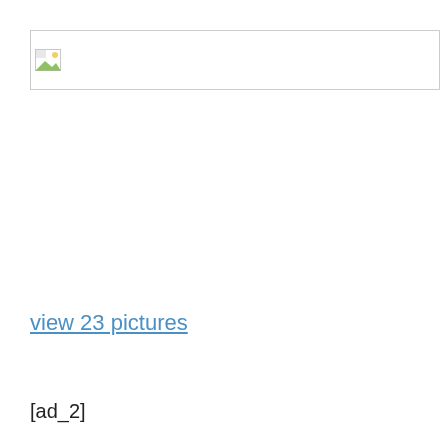[Figure (photo): Image placeholder icon with broken/missing image indicator and a horizontal border line at top of page]
view 23 pictures
[ad_2]